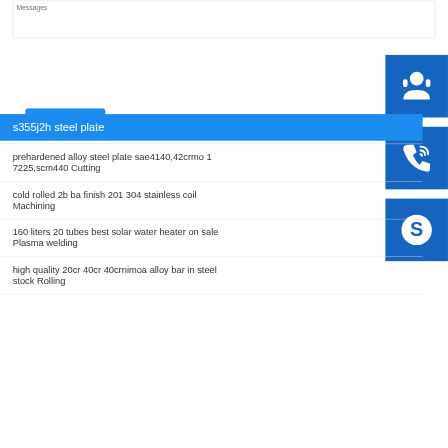Messages
Send Message
s355j2h steel plate
prehardened alloy steel plate sae4140,42crmo 1 7225,scm440 Cutting
cold rolled 2b ba finish 201 304 stainless coil Machining
160 liters 20 tubes best solar water heater on sale Plasma welding
high quality 20cr 40cr 40crnimoa alloy bar in steel stock Rolling